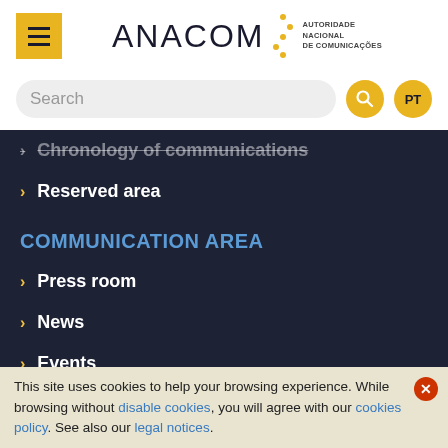[Figure (logo): ANACOM - Autoridade Nacional de Comunicações logo with yellow menu button]
[Figure (screenshot): Search bar with magnifying glass icon and PT language button]
Chronology of communications (faded/strikethrough)
Reserved area
COMMUNICATION AREA
Press room
News
Events
Public presentations
Multimedia (partially visible)
This site uses cookies to help your browsing experience. While browsing without disable cookies, you will agree with our cookies policy. See also our legal notices.